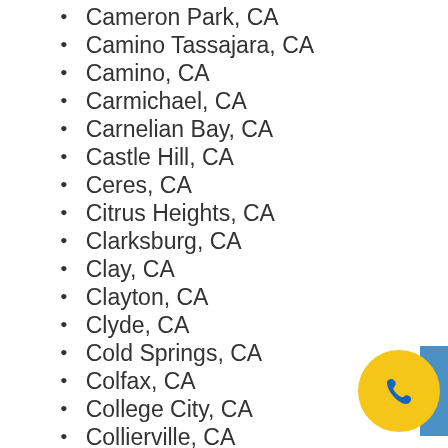Cameron Park, CA
Camino Tassajara, CA
Camino, CA
Carmichael, CA
Carnelian Bay, CA
Castle Hill, CA
Ceres, CA
Citrus Heights, CA
Clarksburg, CA
Clay, CA
Clayton, CA
Clyde, CA
Cold Springs, CA
Colfax, CA
College City, CA
Collierville, CA
Coloma, CA
Colusa County, CA